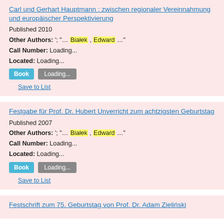Carl und Gerhart Hauptmann : zwischen regionaler Vereinnahmung und europäischer Perspektivierung
Published 2010
Other Authors: '; "... Białek , Edward ..."
Call Number: Loading...
Located: Loading...
Save to List
Festgabe für Prof. Dr. Hubert Unverricht zum achtzigsten Geburtstag
Published 2007
Other Authors: '; "... Białek , Edward ..."
Call Number: Loading...
Located: Loading...
Save to List
Festschrift zum 75. Geburtstag von Prof. Dr. Adam Zieliński